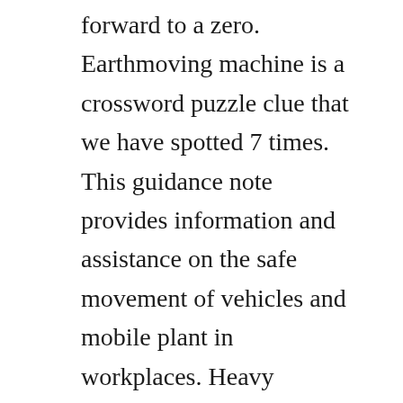forward to a zero. Earthmoving machine is a crossword puzzle clue that we have spotted 7 times. This guidance note provides information and assistance on the safe movement of vehicles and mobile plant in workplaces. Heavy equipment or heavy machinery refers to heavyduty vehicles, specially designed for executing construction tasks, most frequently ones involving earthwork operations or other large construction tasks. Two of the main contributing factors that increase these struckby risks is worker visibility and